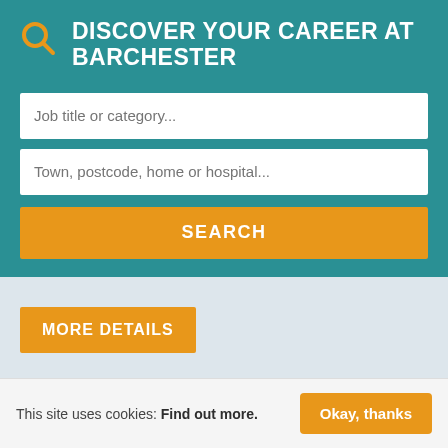DISCOVER YOUR CAREER AT BARCHESTER
[Figure (screenshot): Job search form with two text input fields (Job title or category... and Town, postcode, home or hospital...) and a SEARCH button on teal background]
MORE DETAILS
SENIOR CARE ASSISTANT - CARE HOME
This site uses cookies: Find out more. Okay, thanks